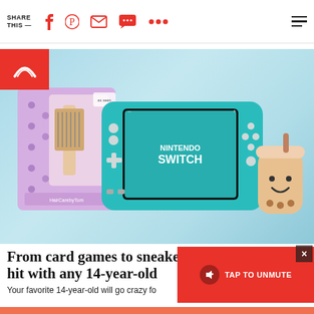SHARE THIS —
[Figure (photo): Hero product photo on light blue/teal gradient background showing: a purple polka-dot gift box with hairbrush (left), a turquoise Nintendo Switch Lite console (center), and a cute boba tea cup character (right). Red Today show logo badge in upper left corner.]
From card games to sneakers, th hit with any 14-year-old
Your favorite 14-year-old will go crazy fo